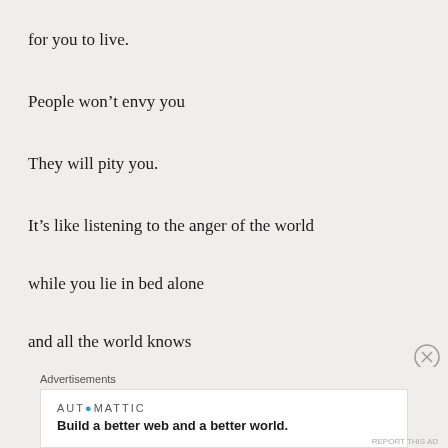for you to live.
People won't envy you
They will pity you.
It's like listening to the anger of the world
while you lie in bed alone
and all the world knows
Advertisements
AUTOMATTIC
Build a better web and a better world.